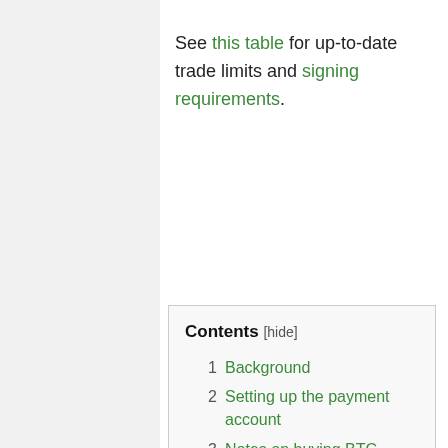See this table for up-to-date trade limits and signing requirements.
Contents [hide]
1 Background
2 Setting up the payment account
3 Notes on buying BTC
3.1 Send payment in correct currency
3.2 Put an appropriate reason for